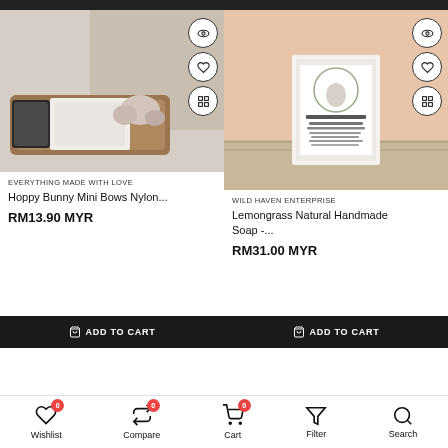[Figure (photo): Top black bars at the top of two product cards]
[Figure (photo): Left product: Hoppy Bunny Mini Bows Nylon - flat lay photo with bows, phone, and basket on wooden tray]
EVERYTHING MADE WITH LOVE
Hoppy Bunny Mini Bows Nylon...
RM13.90 MYR
ADD TO CART
[Figure (photo): Right product: Lemongrass Natural Handmade Soap - product on shelf with peach/salmon background]
WILD HAVEN ENTERPRISE
Lemongrass Natural Handmade Soap -...
RM31.00 MYR
ADD TO CART
Wishlist 0  Compare 0  Cart 0  Filter  Search